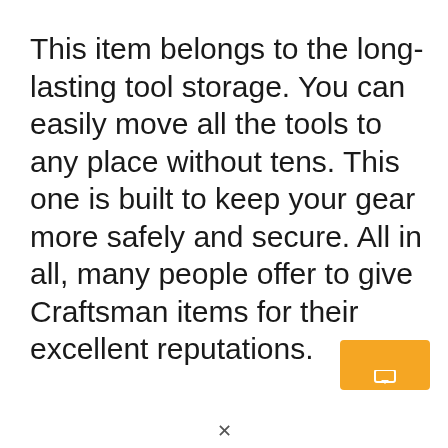This item belongs to the long-lasting tool storage. You can easily move all the tools to any place without tens. This one is built to keep your gear more safely and secure. All in all, many people offer to give Craftsman items for their excellent reputations.